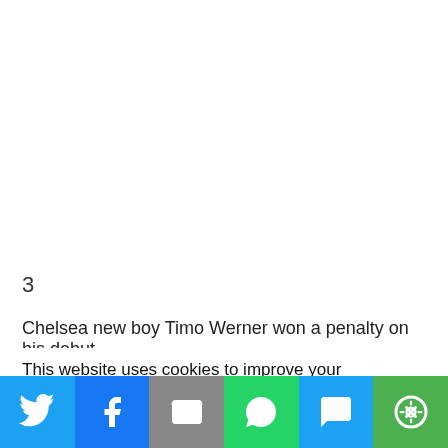3
Chelsea new boy Timo Werner won a penalty on his debut
This website uses cookies to improve your experience. We'll assume you're ok with this, but you can opt-out if you wish.
[Figure (other): Social share bar with icons for Twitter, Facebook, Email, WhatsApp, SMS, and More]